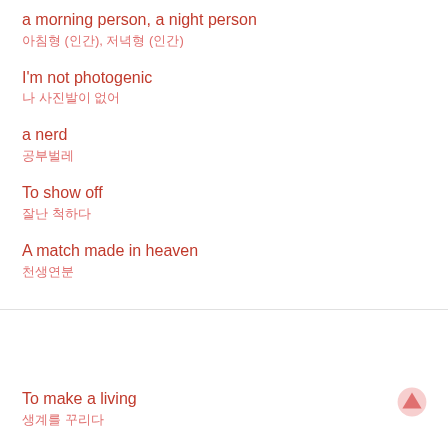a morning person, a night person / 아침형 (인간), 저녁형 (인간)
I'm not photogenic / 나 사진발이 없어
a nerd / 공부벌레
To show off / 잘난 척하다
A match made in heaven / 천생연분
[Figure (infographic): Red and dark grey diagonal banner/divider graphic]
To make a living / 생계를 꾸리다
To rest on one's laurels